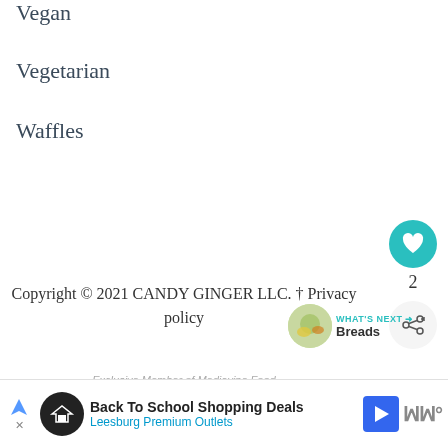Vegan
Vegetarian
Waffles
Copyright © 2021 CANDY GINGER LLC. † Privacy policy
Exclusive Member of Mediavine Food
Back To School Shopping Deals
Leesburg Premium Outlets